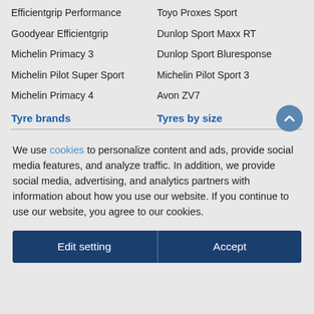Efficientgrip Performance
Toyo Proxes Sport
Goodyear Efficientgrip
Dunlop Sport Maxx RT
Michelin Primacy 3
Dunlop Sport Bluresponse
Michelin Pilot Super Sport
Michelin Pilot Sport 3
Michelin Primacy 4
Avon ZV7
Tyre brands
Tyres by size
We use cookies to personalize content and ads, provide social media features, and analyze traffic. In addition, we provide social media, advertising, and analytics partners with information about how you use our website. If you continue to use our website, you agree to our cookies.
Edit setting
Accept